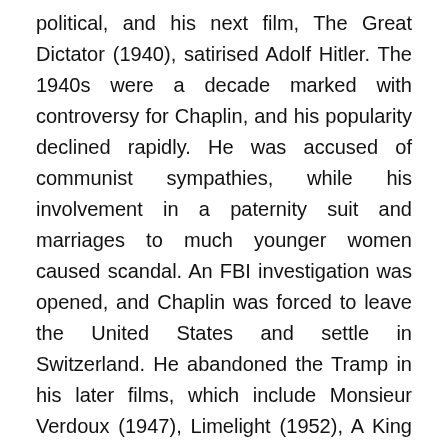political, and his next film, The Great Dictator (1940), satirised Adolf Hitler. The 1940s were a decade marked with controversy for Chaplin, and his popularity declined rapidly. He was accused of communist sympathies, while his involvement in a paternity suit and marriages to much younger women caused scandal. An FBI investigation was opened, and Chaplin was forced to leave the United States and settle in Switzerland. He abandoned the Tramp in his later films, which include Monsieur Verdoux (1947), Limelight (1952), A King in New York (1957), and A Countess from Hong Kong (1967).
Chaplin wrote, directed, produced, edited, starred in, and composed the music for most of his films. He was a perfectionist, and his financial independence enabled him to spend years on the development and production of a picture. His films are characterised by slapstick combined with pathos, typified in the Tramp's struggles against